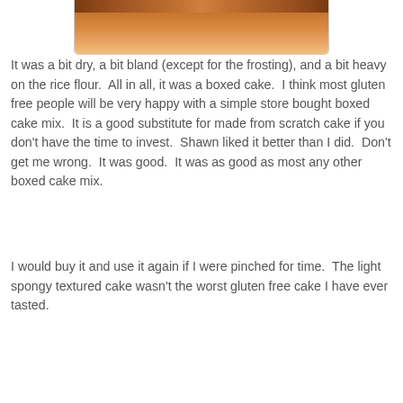[Figure (photo): Partial top view of a baked cake in a rectangular pan, showing a golden-brown surface, cropped at the top of the page.]
It was a bit dry, a bit bland (except for the frosting), and a bit heavy on the rice flour.  All in all, it was a boxed cake.  I think most gluten free people will be very happy with a simple store bought boxed cake mix.  It is a good substitute for made from scratch cake if you don't have the time to invest.  Shawn liked it better than I did.  Don't get me wrong.  It was good.  It was as good as most any other boxed cake mix.
I would buy it and use it again if I were pinched for time.  The light spongy textured cake wasn't the worst gluten free cake I have ever tasted.